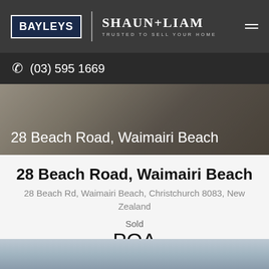BAYLEYS | SHAUN + LIAM TRUSTED TO SELL YOUR HOME
(03) 595 1669
[Figure (photo): Interior room photo with overlay text showing property address 28 Beach Road, Waimairi Beach]
28 Beach Road, Waimairi Beach
28 Beach Rd, Waimairi Beach, Christchurch 8083, New Zealand
Sold
POA
[Figure (photo): Partial bottom image preview of the property]